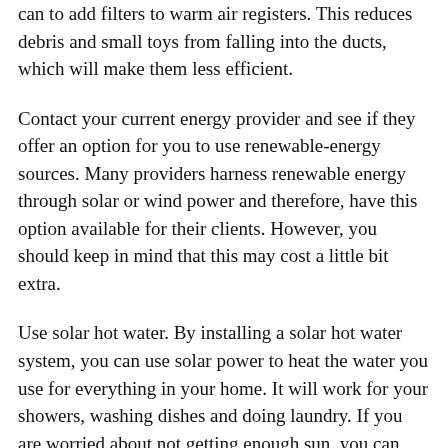can to add filters to warm air registers. This reduces debris and small toys from falling into the ducts, which will make them less efficient.
Contact your current energy provider and see if they offer an option for you to use renewable-energy sources. Many providers harness renewable energy through solar or wind power and therefore, have this option available for their clients. However, you should keep in mind that this may cost a little bit extra.
Use solar hot water. By installing a solar hot water system, you can use solar power to heat the water you use for everything in your home. It will work for your showers, washing dishes and doing laundry. If you are worried about not getting enough sun, you can invest in a small, traditional water heater as well.
If you are struggling to maintain low energy costs in your home, you should try putting in a water-efficient flow control washer or shower rose that is Triple A-rated. Triple-A appliances are